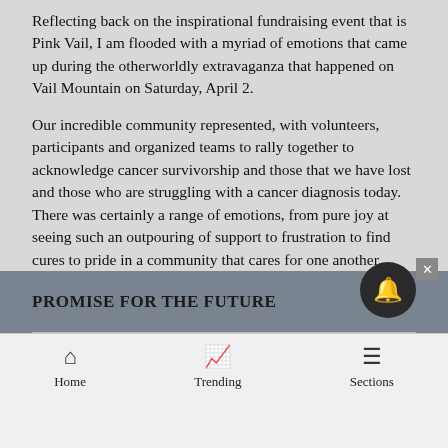Reflecting back on the inspirational fundraising event that is Pink Vail, I am flooded with a myriad of emotions that came up during the otherworldly extravaganza that happened on Vail Mountain on Saturday, April 2.
Our incredible community represented, with volunteers, participants and organized teams to rally together to acknowledge cancer survivorship and those that we have lost and those who are struggling with a cancer diagnosis today. There was certainly a range of emotions, from pure joy at seeing such an outpouring of support to frustration to find cures to pride in a community that cares for one another.
PROMISE FOR THE FUTURE
Home   Trending   Sections